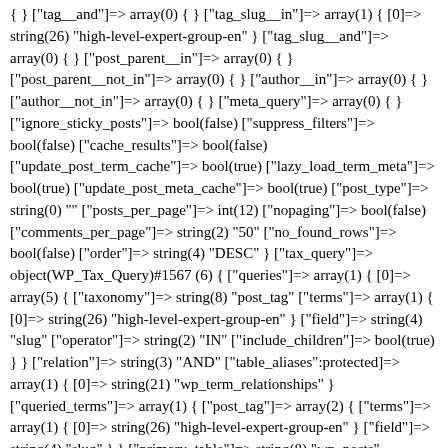{ } ["tag__and"]=> array(0) { } ["tag_slug__in"]=> array(1) { [0]=> string(26) "high-level-expert-group-en" } ["tag_slug__and"]=> array(0) { } ["post_parent__in"]=> array(0) { } ["post_parent__not_in"]=> array(0) { } ["author__in"]=> array(0) { } ["author__not_in"]=> array(0) { } ["meta_query"]=> array(0) { } ["ignore_sticky_posts"]=> bool(false) ["suppress_filters"]=> bool(false) ["cache_results"]=> bool(false) ["update_post_term_cache"]=> bool(true) ["lazy_load_term_meta"]=> bool(true) ["update_post_meta_cache"]=> bool(true) ["post_type"]=> string(0) "" ["posts_per_page"]=> int(12) ["nopaging"]=> bool(false) ["comments_per_page"]=> string(2) "50" ["no_found_rows"]=> bool(false) ["order"]=> string(4) "DESC" } ["tax_query"]=> object(WP_Tax_Query)#1567 (6) { ["queries"]=> array(1) { [0]=> array(5) { ["taxonomy"]=> string(8) "post_tag" ["terms"]=> array(1) { [0]=> string(26) "high-level-expert-group-en" } ["field"]=> string(4) "slug" ["operator"]=> string(2) "IN" ["include_children"]=> bool(true) } } ["relation"]=> string(3) "AND" ["table_aliases":protected]=> array(1) { [0]=> string(21) "wp_term_relationships" } ["queried_terms"]=> array(1) { ["post_tag"]=> array(2) { ["terms"]=> array(1) { [0]=> string(26) "high-level-expert-group-en" } ["field"]=> string(4) "slug" } } ["primary_table"]=> string(8) "wp_posts" ["primary_id_column"]=> string(2) "ID" } ["meta_query"]=> object(WP_Meta_Query)#5376 (9) { ["queries"]=> array(0) { }